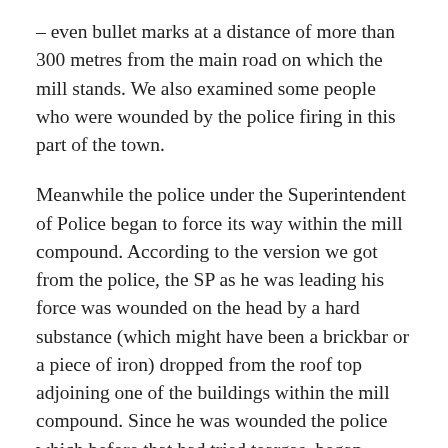– even bullet marks at a distance of more than 300 metres from the main road on which the mill stands. We also examined some people who were wounded by the police firing in this part of the town.
Meanwhile the police under the Superintendent of Police began to force its way within the mill compound. According to the version we got from the police, the SP as he was leading his force was wounded on the head by a hard substance (which might have been a brickbar or a piece of iron) dropped from the roof top adjoining one of the buildings within the mill compound. Since he was wounded the police which before that had tried teargas, began shooting. The firing, according to the police, went on for twenty to twenty-five minutes. All other evidences, however, indicate that the firing lasted for nearly two hours. The